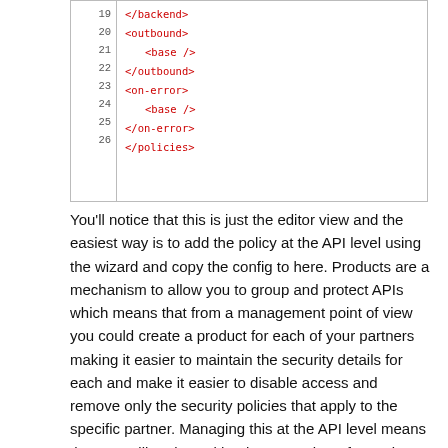[Figure (screenshot): Code editor snippet showing XML policy configuration lines 19-26: </backend>, <outbound>, <base />, </outbound>, <on-error>, <base />, </on-error>, </policies>]
You'll notice that this is just the editor view and the easiest way is to add the policy at the API level using the wizard and copy the config to here. Products are a mechanism to allow you to group and protect APIs which means that from a management point of view you could create a product for each of your partners making it easier to maintain the security details for each and make it easier to disable access and remove only the security policies that apply to the specific partner. Managing this at the API level means that you will end up with a large number of security policies relating to a large number of partners making it difficult to manage.